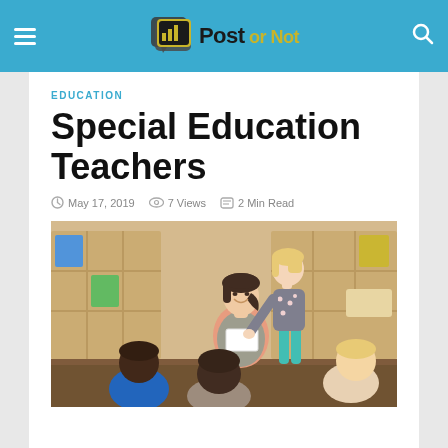Post or Not
EDUCATION
Special Education Teachers
May 17, 2019   7 Views   2 Min Read
[Figure (photo): A female teacher smiling and interacting with a group of young children in a classroom setting with wooden cubbies in the background. A standing girl in a polka-dot dress is handing something to the teacher while other children sit around her.]